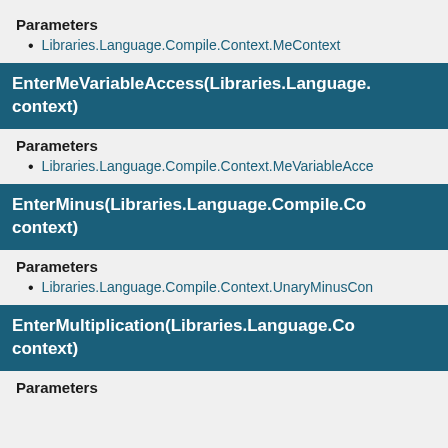Parameters
Libraries.Language.Compile.Context.MeContext
EnterMeVariableAccess(Libraries.Language. context)
Parameters
Libraries.Language.Compile.Context.MeVariableAcce
EnterMinus(Libraries.Language.Compile.Co context)
Parameters
Libraries.Language.Compile.Context.UnaryMinusCon
EnterMultiplication(Libraries.Language.Co context)
Parameters